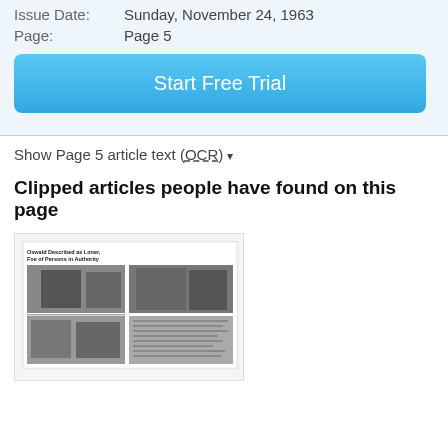Issue Date:    Sunday, November 24, 1963
Page:    Page 5
Start Free Trial
Show Page 5 article text (OCR)
Clipped articles people have found on this page
[Figure (photo): Thumbnail of a newspaper clipping from Page 5, November 24, 1963, showing multiple black and white photos and article text. The headline reads 'Oswald Described as Loner, Foe of Persons in Authority'.]